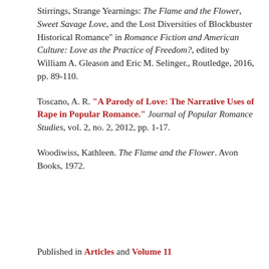Stirrings, Strange Yearnings: The Flame and the Flower, Sweet Savage Love, and the Lost Diversities of Blockbuster Historical Romance" in Romance Fiction and American Culture: Love as the Practice of Freedom?, edited by William A. Gleason and Eric M. Selinger., Routledge, 2016, pp. 89-110.
Toscano, A. R. "A Parody of Love: The Narrative Uses of Rape in Popular Romance." Journal of Popular Romance Studies, vol. 2, no. 2, 2012, pp. 1-17.
Woodiwiss, Kathleen. The Flame and the Flower. Avon Books, 1972.
Published in Articles and Volume 11